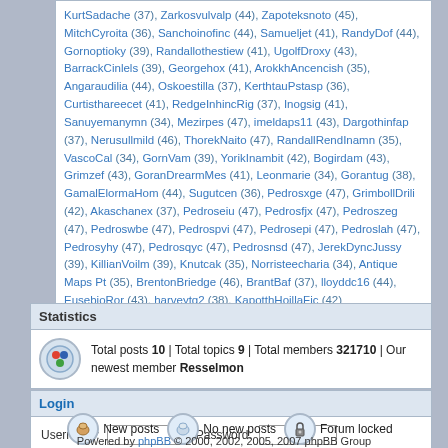KurtSadache (37), Zarkosvulvalp (44), Zapoteksnoto (45), MitchCyroita (36), Sanchoinofinc (44), Samueljet (41), RandyDof (44), Gornoptioky (39), Randallothestiew (41), UgolfDroxy (43), BarrackCinlels (39), Georgehox (41), ArokkhAncencish (35), Angaraudilia (44), Oskoestilla (37), KerthtauPstasp (36), Curtisthareecet (41), RedgeInhincRig (37), Inogsig (41), Sanuyemanymn (34), Mezirpes (47), imeldaps11 (43), Dargothinfap (37), Nerusullmild (46), ThorekNaito (47), RandallRendInamn (35), VascoCal (34), GornVam (39), YorikInambit (42), Bogirdam (43), Grimzef (43), GoranDrearmMes (41), Leonmarie (34), Gorantug (38), GamalElormaHom (44), Sugutcen (36), Pedrosxge (47), GrimbollDrili (42), Akaschanex (37), Pedroseiu (47), Pedrosfjx (47), Pedroszeg (47), Pedroswbe (47), Pedrospvi (47), Pedrosepi (47), Pedroslah (47), Pedrosyhy (47), Pedrosqyc (47), Pedrosnsd (47), JerekDyncJussy (39), KillianVoilm (39), Knutcak (35), Norristeecharia (34), Antique Maps Pt (35), BrentonBriedge (46), BrantBaf (37), lloyddc16 (44), EusebioRor (43), harveytg2 (38), KapotthHoillaFic (42)
Statistics
Total posts 10 | Total topics 9 | Total members 321710 | Our newest member Resselmon
Login
Username: [input] Password: [input] Log me on automatically each visit [checkbox] Login
New posts  No new posts  Forum locked
Powered by phpBB © 2000, 2002, 2005, 2007 phpBB Group